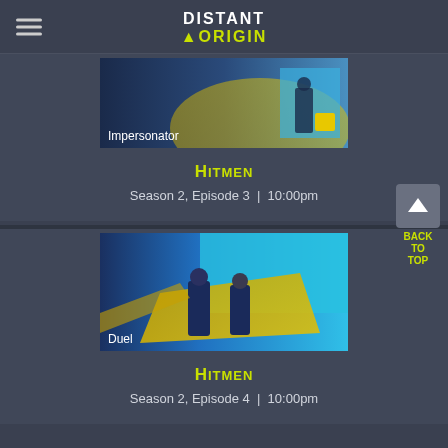DISTANT ORIGIN
[Figure (screenshot): TV show thumbnail for episode 'Impersonator' — dark blue and yellow tones showing a figure in blue coat]
Hitmen
Season 2, Episode 3  |  10:00pm
[Figure (screenshot): TV show thumbnail for episode 'Duel' — two figures in blue coats standing near yellow vehicle against bright blue sky]
Hitmen
Season 2, Episode 4  |  10:00pm